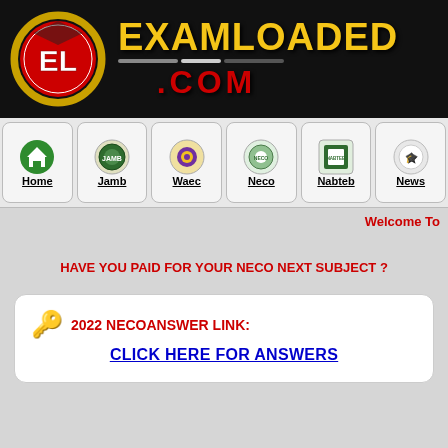[Figure (logo): Examloaded.com website header banner with EL logo circle on black background, gold EXAMLOADED text and red .COM text]
[Figure (infographic): Navigation bar with Home, Jamb, Waec, Neco, Nabteb, News items with icons]
Welcome To
HAVE YOU PAID FOR YOUR NECO NEXT SUBJECT ?
🔑 2022 NECOANSWER LINK: CLICK HERE FOR ANSWERS